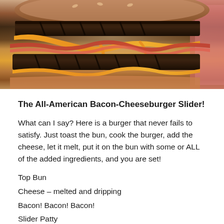[Figure (photo): Close-up photo of a bacon cheeseburger slider showing stacked beef patties with melted orange cheese and bacon strips]
The All-American Bacon-Cheeseburger Slider!
What can I say? Here is a burger that never fails to satisfy. Just toast the bun, cook the burger, add the cheese, let it melt, put it on the bun with some or ALL of the added ingredients, and you are set!
Top Bun
Cheese – melted and dripping
Bacon! Bacon! Bacon!
Slider Patty
Tomato
Pickle